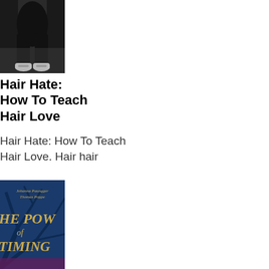[Figure (photo): Photo of a person sitting, wearing black leather pants and white sneakers, dark background]
Hair Hate: How To Teach Hair Love
Hair Hate: How To Teach Hair Love. Hair hair
[Figure (photo): Book cover showing 'The Power of Timing' by Johanna Paungger and Thomas Poppe, with blue background and gold text]